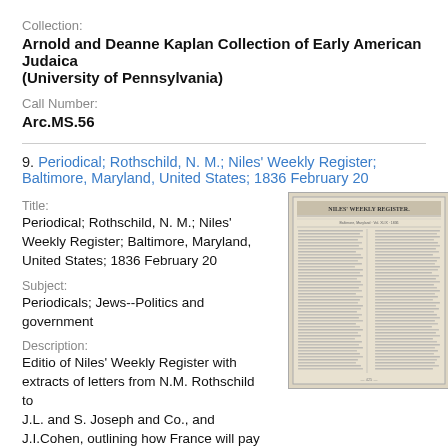Collection:
Arnold and Deanne Kaplan Collection of Early American Judaica (University of Pennsylvania)
Call Number:
Arc.MS.56
9. Periodical; Rothschild, N. M.; Niles' Weekly Register; Baltimore, Maryland, United States; 1836 February 20
Title:
Periodical; Rothschild, N. M.; Niles' Weekly Register; Baltimore, Maryland, United States; 1836 February 20
Subject:
Periodicals; Jews--Politics and government
Description:
Editio of Niles' Weekly Register with extracts of letters from N.M. Rothschild to J.L. and S. Joseph and Co., and J.I.Cohen, outlining how France will pay the United States on
[Figure (photo): Photograph of a historical newspaper page titled 'NILES' WEEKLY REGISTER' showing dense columnar text typical of 19th century periodicals]